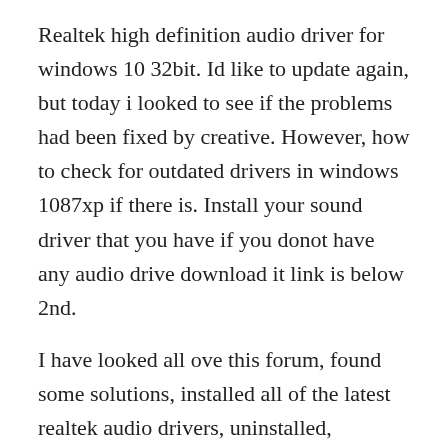Realtek high definition audio driver for windows 10 32bit. Id like to update again, but today i looked to see if the problems had been fixed by creative. However, how to check for outdated drivers in windows 1087xp if there is. Install your sound driver that you have if you donot have any audio drive download it link is below 2nd.
I have looked all ove this forum, found some solutions, installed all of the latest realtek audio drivers, uninstalled, reinstalled, rebooted, updated bios and all. Right click